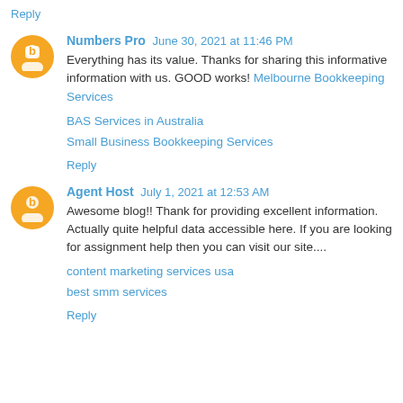Reply
Numbers Pro  June 30, 2021 at 11:46 PM
Everything has its value. Thanks for sharing this informative information with us. GOOD works! Melbourne Bookkeeping Services
BAS Services in Australia
Small Business Bookkeeping Services
Reply
Agent Host  July 1, 2021 at 12:53 AM
Awesome blog!! Thank for providing excellent information. Actually quite helpful data accessible here. If you are looking for assignment help then you can visit our site....
content marketing services usa
best smm services
Reply